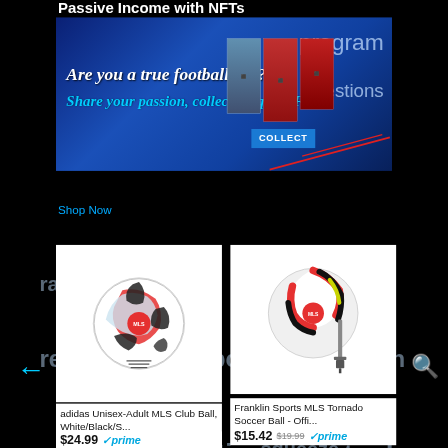Passive Income with NFTs
[Figure (screenshot): Football NFT advertisement banner - 'Are you a true football fan? Share your passion, collect unique NFTs!' with COLLECT button and player photos on blue gradient background]
program
questions
rate  ratgeber  real  recipes
relationship  robot  search
Shop Now
sell  social  solution  squeeze  stock
studio  tm
trading
[Figure (photo): adidas Unisex-Adult MLS Club Ball, White/Black/S... soccer ball product image]
adidas Unisex-Adult MLS Club Ball, White/Black/S...
$24.99  prime  ★★★★☆ (9038)
[Figure (photo): Franklin Sports MLS Tornado Soccer Ball - Offi... product image with pump]
Franklin Sports MLS Tornado Soccer Ball - Offi...
$15.42  $19.99  prime  ★★★★☆ (148)
ultimate  video  webb